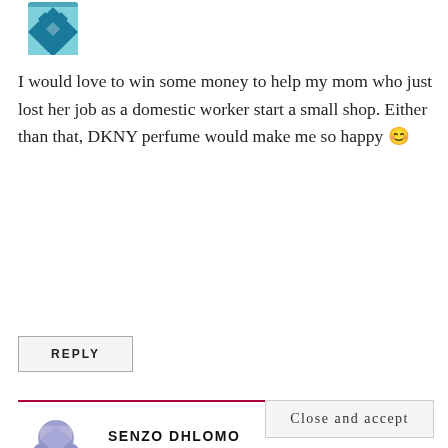[Figure (illustration): Decorative avatar icon - blue/teal diamond quilt pattern square at top left]
I would love to win some money to help my mom who just lost her job as a domestic worker start a small shop. Either than that, DKNY perfume would make me so happy 😊
REPLY
[Figure (illustration): Purple/lavender avatar icon showing a person silhouette with diamond pattern]
SENZO DHLOMO
November 23, 2017 at 6:49 am
Privacy & Cookies: This site uses cookies. By continuing to use this website, you agree to their use.
To find out more, including how to control cookies, see here: Cookie Policy
Close and accept